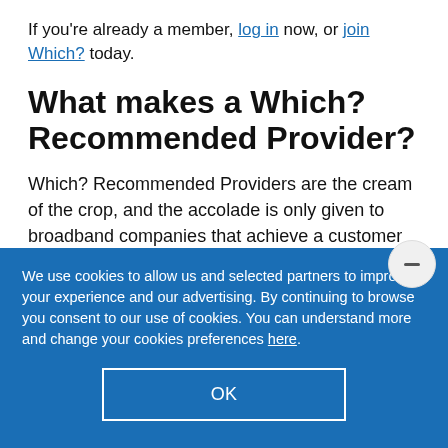If you're already a member, log in now, or join Which? today.
What makes a Which? Recommended Provider?
Which? Recommended Providers are the cream of the crop, and the accolade is only given to broadband companies that achieve a customer score of 70% or above.
We use cookies to allow us and selected partners to improve your experience and our advertising. By continuing to browse you consent to our use of cookies. You can understand more and change your cookies preferences here.